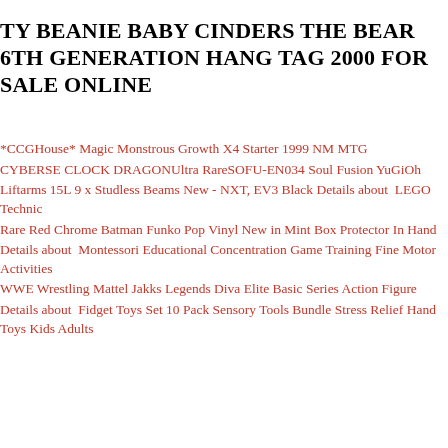TY BEANIE BABY CINDERS THE BEAR 6TH GENERATION HANG TAG 2000 FOR SALE ONLINE
*CCGHouse* Magic Monstrous Growth X4 Starter 1999 NM MTG
CYBERSE CLOCK DRAGONUltra RareSOFU-EN034 Soul Fusion YuGiOh
Liftarms 15L 9 x Studless Beams New - NXT, EV3 Black Details about  LEGO Technic
Rare Red Chrome Batman Funko Pop Vinyl New in Mint Box Protector In Hand
Details about  Montessori Educational Concentration Game Training Fine Motor Activities
WWE Wrestling Mattel Jakks Legends Diva Elite Basic Series Action Figure
Details about  Fidget Toys Set 10 Pack Sensory Tools Bundle Stress Relief Hand Toys Kids Adults